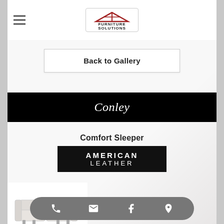[Figure (logo): Furniture Solutions logo with red house/roof icon and bold text]
Back to Gallery
Conley
Comfort Sleeper
[Figure (logo): American Leather brand logo in white text on black background]
[Figure (photo): White loveseat sofa product photo]
[Figure (infographic): Bottom navigation toolbar with phone, email, Facebook, and location icons]